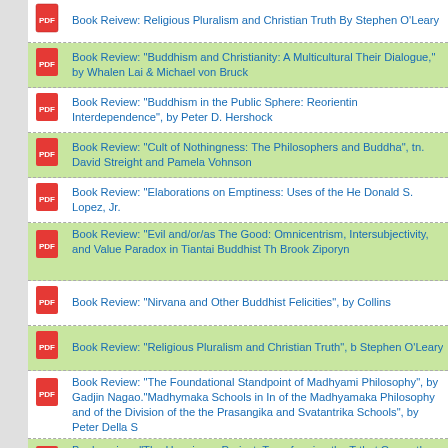Book Reivew: Religious Pluralism and Christian Truth By Stephen O'Leary
Book Review: "Buddhism and Christianity: A Multicultural Their Dialogue," by Whalen Lai & Michael von Bruck
Book Review: "Buddhism in the Public Sphere: Reorientin Interdependence", by Peter D. Hershock
Book Review: "Cult of Nothingness: The Philosophers and Buddha", tn. David Streight and Pamela Vohnson
Book Review: "Elaborations on Emptiness: Uses of the He Donald S. Lopez, Jr.
Book Review: "Evil and/or/as The Good: Omnicentrism, Intersubjectivity, and Value Paradox in Tiantai Buddhist Th Brook Ziporyn
Book Review: "Nirvana and Other Buddhist Felicities", by Collins
Book Review: "Religious Pluralism and Christian Truth", b Stephen O'Leary
Book Review: "The Foundational Standpoint of Madhyami Philosophy", by Gadjin Nagao."Madhymaka Schools in In of the Madhyamaka Philosophy and of the Division of the the Prasangika and Svatantrika Schools", by Peter Della S
Book review: "The Happiness Project: Transforming the T that Cause the Suffering We Inflict on Ourselves and Othe Leifer
Book Review: "Zen at War", by Brian Victoria
Book Review: "Zen War Stories," by Brian Daizen Victoria
Book Review: Nietzsche and Buddhism: A study in Nihilo